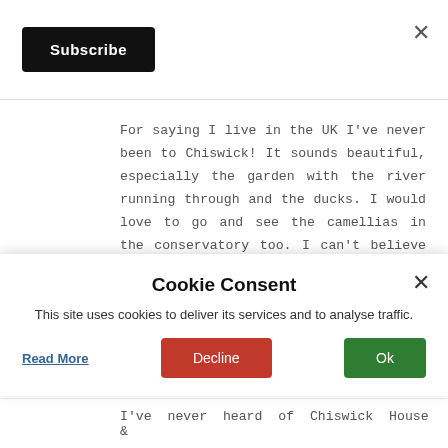[Figure (other): Subscribe button (black rounded rectangle with white text) in top-left area, with a close X in the top-right corner]
For saying I live in the UK I've never been to Chiswick! It sounds beautiful, especially the garden with the river running through and the ducks. I would love to go and see the camellias in the conservatory too. I can't believe they don't have a kitchen though! The velvet rooms sound very opulent - imagine having somewhere like
Cookie Consent
This site uses cookies to deliver its services and to analyse traffic.
Read More
Decline
Ok
I've never heard of Chiswick House &